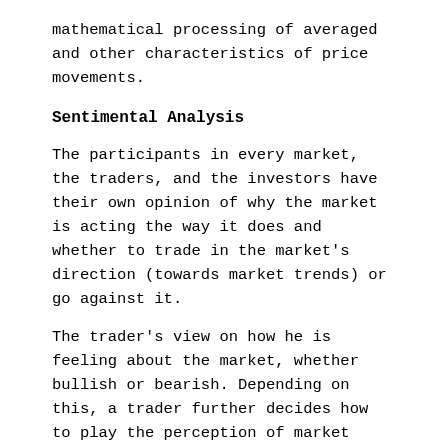mathematical processing of averaged and other characteristics of price movements.
Sentimental Analysis
The participants in every market, the traders, and the investors have their own opinion of why the market is acting the way it does and whether to trade in the market's direction (towards market trends) or go against it.
The trader's view on how he is feeling about the market, whether bullish or bearish. Depending on this, a trader further decides how to play the perception of market sentiment into a trading strategy.
Forex Trading Strategies